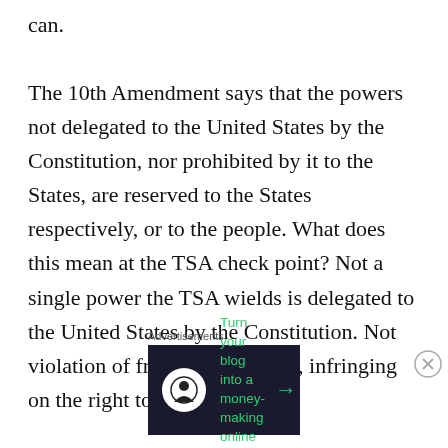can.
The 10th Amendment says that the powers not delegated to the United States by the Constitution, nor prohibited by it to the States, are reserved to the States respectively, or to the people. What does this mean at the TSA check point?  Not a single power the TSA wields is delegated to the United States by the Constitution. Not violation of freedom of speech, infringing on the right to bear arms,
[Figure (infographic): Advertisement banner: 'Turn your blog into a money-making online course.' with arrow, on dark background with tree/person icon.]